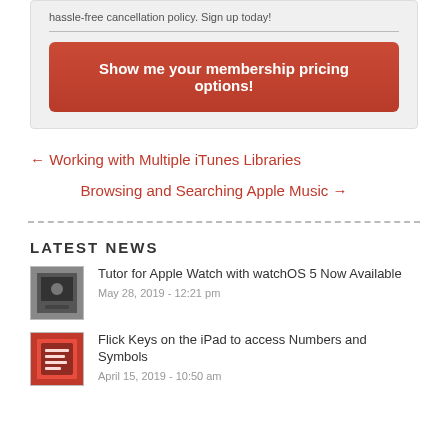hassle-free cancellation policy. Sign up today!
[Figure (other): Red button: Show me your membership pricing options!]
← Working with Multiple iTunes Libraries
Browsing and Searching Apple Music →
LATEST NEWS
[Figure (photo): Thumbnail image of Apple Watch tutor book cover]
Tutor for Apple Watch with watchOS 5 Now Available
May 28, 2019 - 12:21 pm
[Figure (photo): Thumbnail image of iPad Flick Keys book cover]
Flick Keys on the iPad to access Numbers and Symbols
April 15, 2019 - 10:50 am